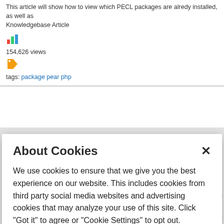This article will show how to view which PECL packages are alredy installed, as well as Knowledgebase Article
154,626 views
tags: package pear php
About Cookies
We use cookies to ensure that we give you the best experience on our website. This includes cookies from third party social media websites and advertising cookies that may analyze your use of this site. Click "Got it" to agree or "Cookie Settings" to opt out.
Cookie Notice
Got It
Cookies Settings